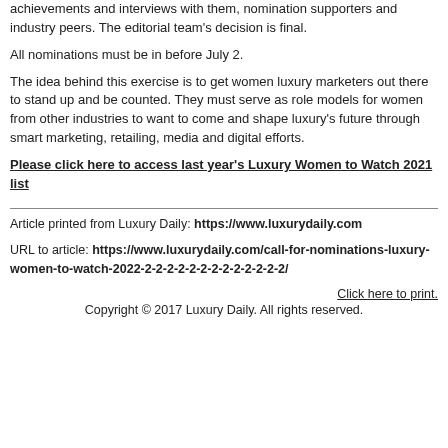achievements and interviews with them, nomination supporters and industry peers. The editorial team's decision is final.
All nominations must be in before July 2.
The idea behind this exercise is to get women luxury marketers out there to stand up and be counted. They must serve as role models for women from other industries to want to come and shape luxury's future through smart marketing, retailing, media and digital efforts.
Please click here to access last year's Luxury Women to Watch 2021 list
Article printed from Luxury Daily: https://www.luxurydaily.com
URL to article: https://www.luxurydaily.com/call-for-nominations-luxury-women-to-watch-2022-2-2-2-2-2-2-2-2-2-2-2-2-2/
Click here to print.
Copyright © 2017 Luxury Daily. All rights reserved.